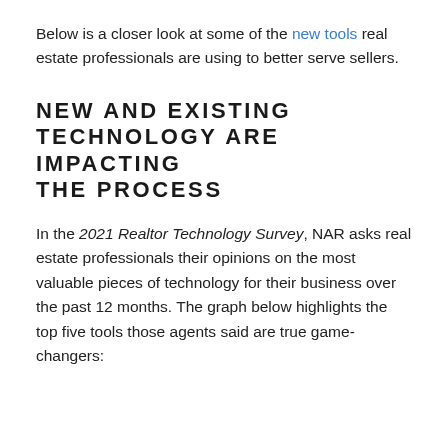Below is a closer look at some of the new tools real estate professionals are using to better serve sellers.
NEW AND EXISTING TECHNOLOGY ARE IMPACTING THE PROCESS
In the 2021 Realtor Technology Survey, NAR asks real estate professionals their opinions on the most valuable pieces of technology for their business over the past 12 months. The graph below highlights the top five tools those agents said are true game-changers: